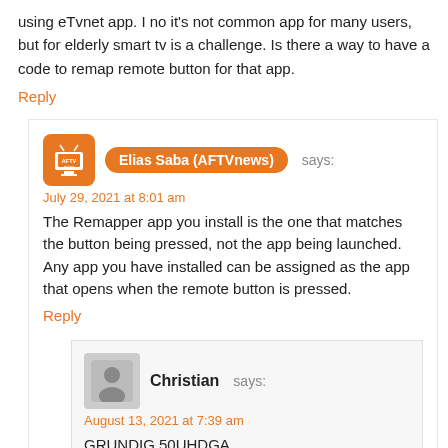using eTvnet app. I no it's not common app for many users, but for elderly smart tv is a challenge. Is there a way to have a code to remap remote button for that app.
Reply
Elias Saba (AFTVnews) says:
July 29, 2021 at 8:01 am
The Remapper app you install is the one that matches the button being pressed, not the app being launched. Any app you have installed can be assigned as the app that opens when the remote button is pressed.
Reply
Christian says:
August 13, 2021 at 7:39 am
GRUNDIG 50UHDGA
DAZN remapping doesn't work (remote is like the Grundig remote in the picture)
DAZN app isn't installed and pressing on the button leads to the FireTV app store instead of the remapped